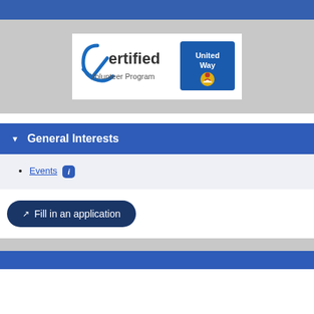[Figure (logo): Certified Volunteer Program logo with United Way logo side by side on white background]
General Interests
Events
Fill in an application